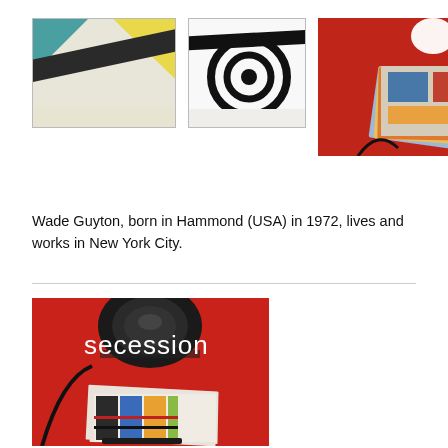[Figure (photo): Three artwork/photo images arranged horizontally: (1) abstract artwork with yellow and teal triangle shapes and black tape on white background, (2) black concentric circles/rings on white background, (3) photograph on red background showing stacked colorful photographs/prints with camera cable]
Wade Guyton, born in Hammond (USA) in 1972, lives and works in New York City.
[Figure (photo): Cropped view of a book or catalog cover on red background, showing the word 'secession' in white text, with a camera lens visible at top and stacked color-printed sheets at bottom with black marker]